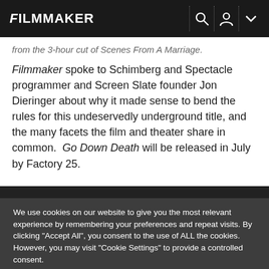FILMMAKER
from the 3-hour cut of Scenes From A Marriage.
Filmmaker spoke to Schimberg and Spectacle programmer and Screen Slate founder Jon Dieringer about why it made sense to bend the rules for this undeservedly underground title, and the many facets the film and theater share in common.  Go Down Death will be released in July by Factory 25.
We use cookies on our website to give you the most relevant experience by remembering your preferences and repeat visits. By clicking "Accept All", you consent to the use of ALL the cookies. However, you may visit "Cookie Settings" to provide a controlled consent.